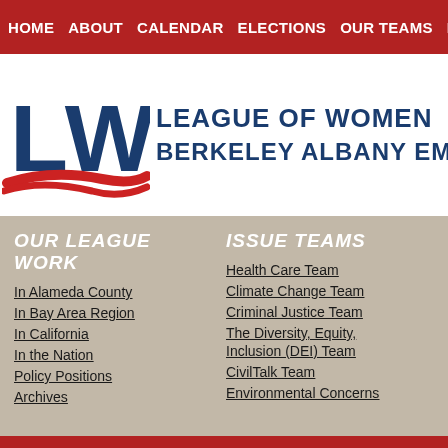HOME   ABOUT   CALENDAR   ELECTIONS   OUR TEAMS   LEAGUE NEWS   YO
[Figure (logo): LWV logo with red swoosh and blue letters, alongside organization name LEAGUE OF WOMEN VOTERS BERKELEY ALBANY EMERYVILLE]
OUR LEAGUE WORK
In Alameda County
In Bay Area Region
In California
In the Nation
Policy Positions
Archives
ISSUE TEAMS
Health Care Team
Climate Change Team
Criminal Justice Team
The Diversity, Equity, Inclusion (DEI) Team
CivilTalk Team
Environmental Concerns
League of Women Voters of Berk...